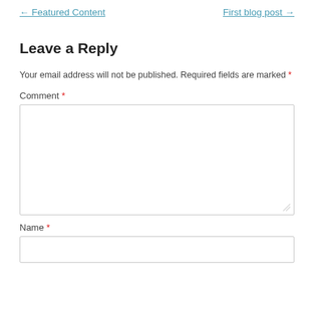← Featured Content    First blog post →
Leave a Reply
Your email address will not be published. Required fields are marked *
Comment *
Name *